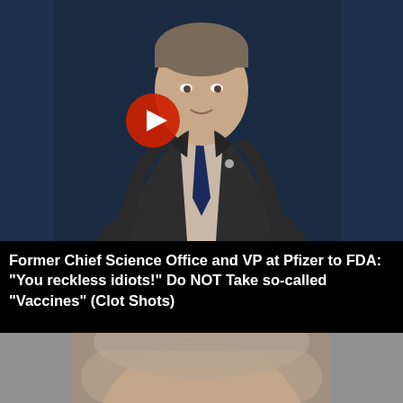[Figure (screenshot): Video thumbnail showing a man in a dark suit and blue tie speaking, with a dark blue background. A red circular play button overlay is centered on the image.]
Former Chief Science Office and VP at Pfizer to FDA: "You reckless idiots!" Do NOT Take so-called "Vaccines" (Clot Shots)
[Figure (photo): Partial photo of a person's head/face, blurred, against a gray background.]